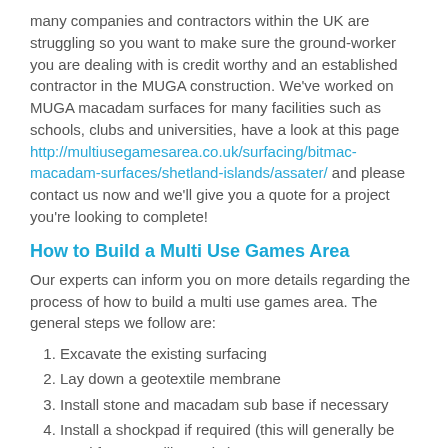many companies and contractors within the UK are struggling so you want to make sure the ground-worker you are dealing with is credit worthy and an established contractor in the MUGA construction. We've worked on MUGA macadam surfaces for many facilities such as schools, clubs and universities, have a look at this page http://multiusegamesarea.co.uk/surfacing/bitmac-macadam-surfaces/shetland-islands/assater/ and please contact us now and we'll give you a quote for a project you're looking to complete!
How to Build a Multi Use Games Area
Our experts can inform you on more details regarding the process of how to build a multi use games area. The general steps we follow are:
Excavate the existing surfacing
Lay down a geotextile membrane
Install stone and macadam sub base if necessary
Install a shockpad if required (this will generally be used for sports like rugby)
Lay down the sports surface
Apply colour coating (for macadam and polymeric)